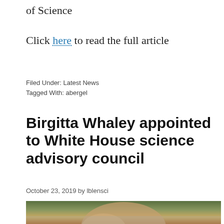of Science
Click here to read the full article
Filed Under: Latest News
Tagged With: abergel
Birgitta Whaley appointed to White House science advisory council
October 23, 2019 by lblensci
[Figure (photo): Partial photograph of a person, visible at the bottom of the page against an outdoor background]